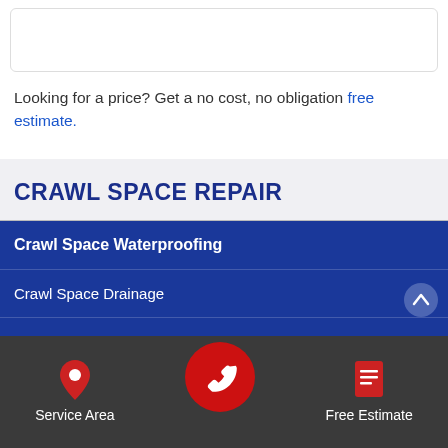[Figure (screenshot): White card/box area at top of page, partially visible]
Looking for a price? Get a no cost, no obligation free estimate.
CRAWL SPACE REPAIR
Crawl Space Waterproofing
Crawl Space Drainage
Drainage Matting
[Figure (screenshot): Dark bottom navigation bar with Service Area (map pin icon), phone call button (red circle with phone icon), and Free Estimate (document icon) buttons]